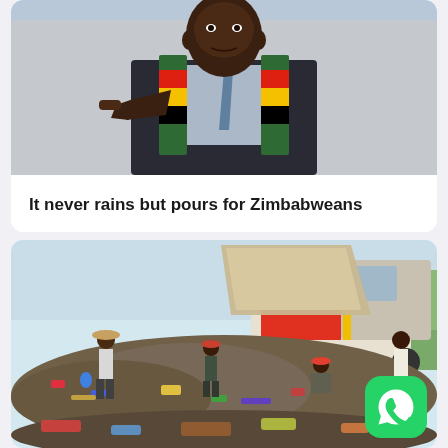[Figure (photo): Photo of a man in a dark suit wearing a Zimbabwe national flag scarf with green, yellow, red, and black colors, pointing finger toward camera]
It never rains but pours for Zimbabweans
[Figure (photo): Photo of people scavenging at a landfill/garbage dump site with a garbage truck emptying its load, multiple people sorting through waste under a bright sky]